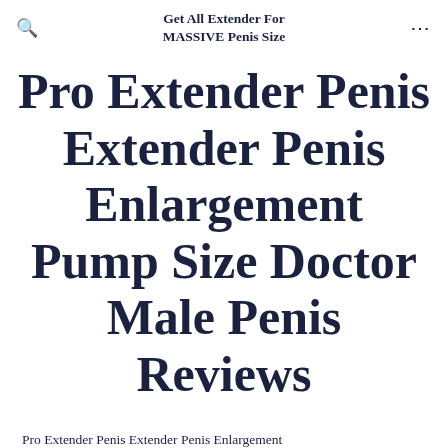Get All Extender For MASSIVE Penis Size
Pro Extender Penis Extender Penis Enlargement Pump Size Doctor Male Penis Reviews
Pro Extender Penis Extender Penis Enlargement Pump Size Doctor Male Penis Reviews